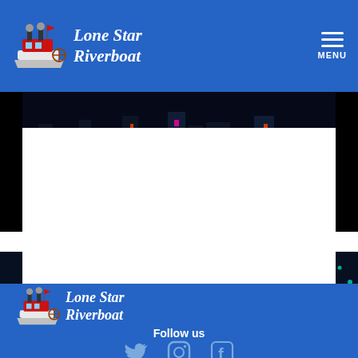Lone Star Riverboat — Navigation header with logo and menu
[Figure (photo): Nighttime city skyline reflected on water with colorful lights]
[Figure (photo): Dark background with teal/cyan sparkle particle effect]
[Figure (logo): Lone Star Riverboat logo with riverboat illustration and italic text]
Follow us
[Figure (infographic): Social media icons: Twitter bird, Instagram camera, Facebook f]